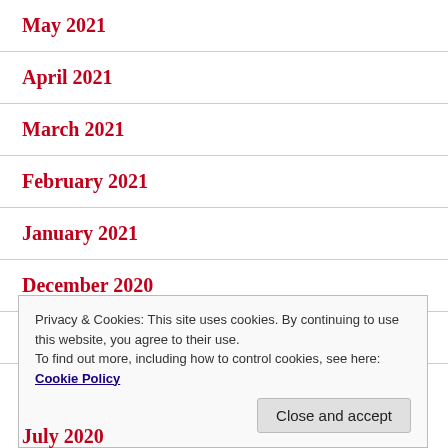May 2021
April 2021
March 2021
February 2021
January 2021
December 2020
November 2020
Privacy & Cookies: This site uses cookies. By continuing to use this website, you agree to their use.
To find out more, including how to control cookies, see here: Cookie Policy
July 2020